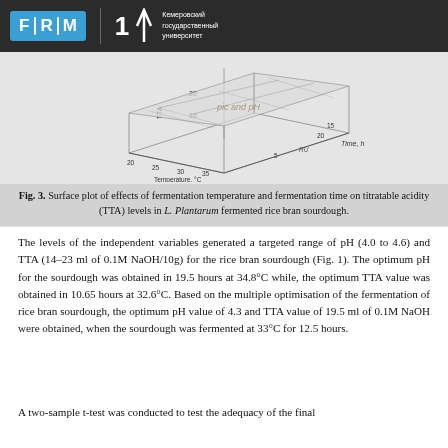FRCM | Кемеровский государственный университет
[Figure (continuous-plot): 3D surface plot showing TTA on vertical axis (range ~16–20), Temperature °C on one horizontal axis (range 20–35), and Time, h on the other horizontal axis (range 5–20). The surface rises from lower-left to upper-right, showing increasing TTA with higher temperature and longer time.]
Fig. 3. Surface plot of effects of fermentation temperature and fermentation time on titratable acidity (TTA) levels in L. Plantarum fermented rice bran sourdough.
The levels of the independent variables generated a targeted range of pH (4.0 to 4.6) and TTA (14–23 ml of 0.1M NaOH/10g) for the rice bran sourdough (Fig. 1). The optimum pH for the sourdough was obtained in 19.5 hours at 34.8°C while, the optimum TTA value was obtained in 10.65 hours at 32.6°C. Based on the multiple optimisation of the fermentation of rice bran sourdough, the optimum pH value of 4.3 and TTA value of 19.5 ml of 0.1M NaOH were obtained, when the sourdough was fermented at 33°C for 12.5 hours.
A two-sample t-test was conducted to test the adequacy of the final